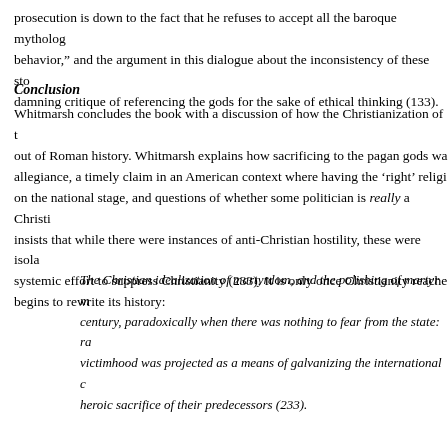prosecution is down to the fact that he refuses to accept all the baroque mytholog behavior," and the argument in this dialogue about the inconsistency of these sto damning critique of referencing the gods for the sake of ethical thinking (133).
Conclusion
Whitmarsh concludes the book with a discussion of how the Christianization of out of Roman history. Whitmarsh explains how sacrificing to the pagan gods wa allegiance, a timely claim in an American context where having the 'right' religi on the national stage, and questions of whether some politician is really a Christi insists that while there were instances of anti-Christian hostility, these were isola systemic effort to suppress Christianity (233). It is only once Christianity reache begins to rewrite its history:
The Christian idealization of martyrdom, and the polishing of martyr m century, paradoxically when there was nothing to fear from the state: ra victimhood was projected as a means of galvanizing the international c heroic sacrifice of their predecessors (233).